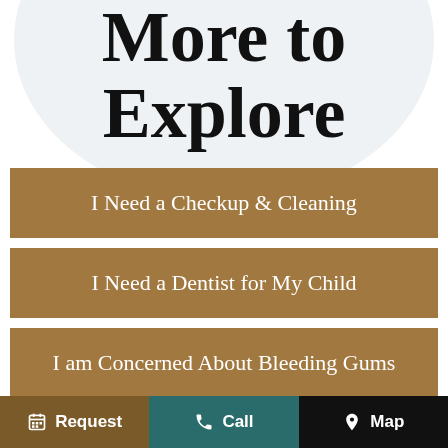More to Explore
I Need a Checkup & Cleaning
I Need a Dentist for My Child
I am Concerned About Bleeding Gums
I Have a Cavity or Broken Tooth
Request   Call   Map